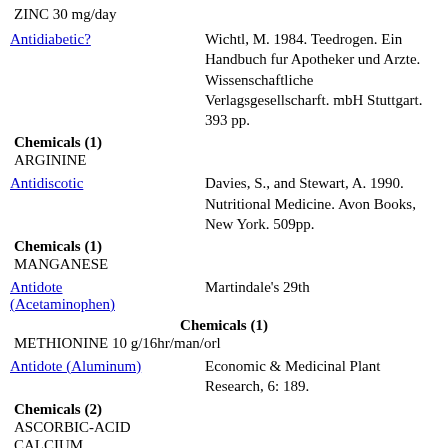ZINC 30 mg/day
Antidiabetic?
Wichtl, M. 1984. Teedrogen. Ein Handbuch fur Apotheker und Arzte. Wissenschaftliche Verlagsgesellscharft. mbH Stuttgart. 393 pp.
Chemicals (1)
ARGININE
Antidiscotic
Davies, S., and Stewart, A. 1990. Nutritional Medicine. Avon Books, New York. 509pp.
Chemicals (1)
MANGANESE
Antidote (Acetaminophen)
Martindale's 29th
Chemicals (1)
METHIONINE 10 g/16hr/man/orl
Antidote (Aluminum)
Economic & Medicinal Plant Research, 6: 189.
Chemicals (2)
ASCORBIC-ACID
CALCIUM